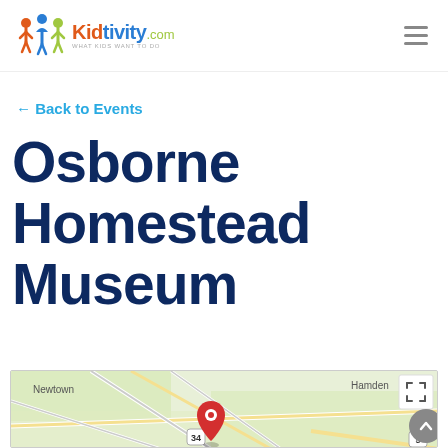Kidtivity.com — navigation header with logo and hamburger menu
← Back to Events
Osborne Homestead Museum
[Figure (map): Google Maps embed showing location near Newtown and Hamden with a red pin marker at route 34 intersection]